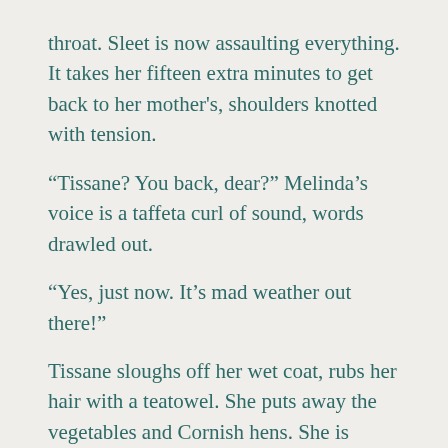throat. Sleet is now assaulting everything. It takes her fifteen extra minutes to get back to her mother's, shoulders knotted with tension.

“Tissane? You back, dear?” Melinda’s voice is a taffeta curl of sound, words drawled out.

“Yes, just now. It’s mad weather out there!”

Tissane sloughs off her wet coat, rubs her hair with a teatowel. She puts away the vegetables and Cornish hens. She is skittish, anxious after the slippery road, and chilled. Her mother sounds drugged. Tissane needs a hot shower and a steaming latte. She needs to be on her own balcony watching the city lights wink on and off. With her cat,